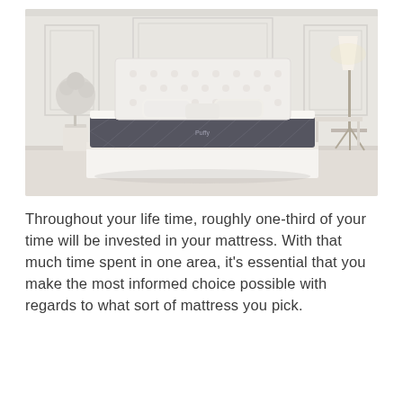[Figure (photo): A white upholstered bed with tufted headboard and a dark charcoal quilted mattress displayed in a bright, elegant bedroom setting with white walls, a decorative topiary plant on the left, and a floor lamp on the right.]
Throughout your life time, roughly one-third of your time will be invested in your mattress. With that much time spent in one area, it's essential that you make the most informed choice possible with regards to what sort of mattress you pick.